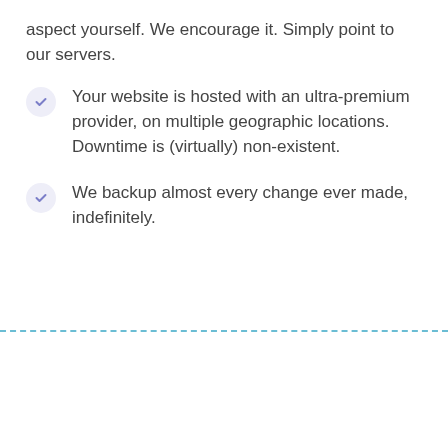aspect yourself. We encourage it. Simply point to our servers.
Your website is hosted with an ultra-premium provider, on multiple geographic locations. Downtime is (virtually) non-existent.
We backup almost every change ever made, indefinitely.